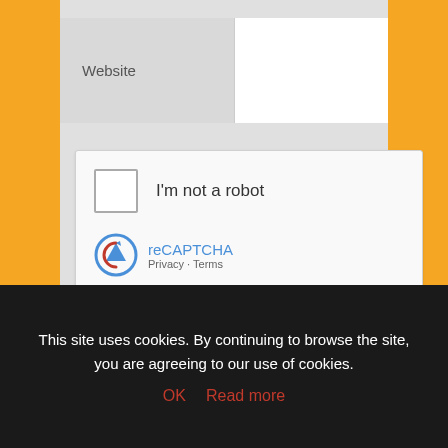[Figure (screenshot): Website input field with label 'Website' on the left and a white text input box on the right]
[Figure (screenshot): Google reCAPTCHA widget with checkbox, 'I'm not a robot' text, reCAPTCHA logo, Privacy and Terms links]
By using this form you agree with the privacy policy. *
Post Comment
This site uses cookies. By continuing to browse the site, you are agreeing to our use of cookies.
OK   Read more